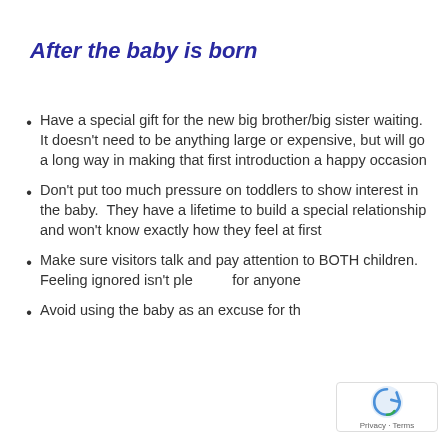After the baby is born
Have a special gift for the new big brother/big sister waiting.  It doesn't need to be anything large or expensive, but will go a long way in making that first introduction a happy occasion
Don't put too much pressure on toddlers to show interest in the baby.  They have a lifetime to build a special relationship and won't know exactly how they feel at first
Make sure visitors talk and pay attention to BOTH children.  Feeling ignored isn't pleasant for anyone
Avoid using the baby as an excuse for things